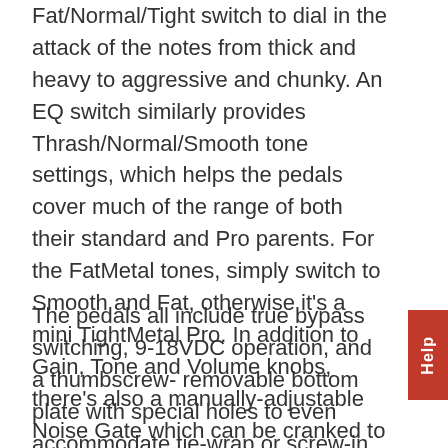Fat/Normal/Tight switch to dial in the attack of the notes from thick and heavy to aggressive and chunky. An EQ switch similarly provides Thrash/Normal/Smooth tone settings, which helps the pedals cover much of the range of both their standard and Pro parents. For the FatMetal tones, simply switch to Smooth and Fat, otherwise it's a mini TightMetal Pro. In addition to Gain, Tone and Volume knobs, there's also a manually-adjustable Noise Gate which can be cranked to stop notes hard and fast. And the great thing about a built-in noise gate is that it goes away when you turn the pedal off…..so your clean tone is unaffected!
The pedals all include true bypass switching, 9-18VDC operation, and a thumbscrew- removable bottom plate with special holes to even accommodate tie-wrap or screw-in pedalboard attachment methods.